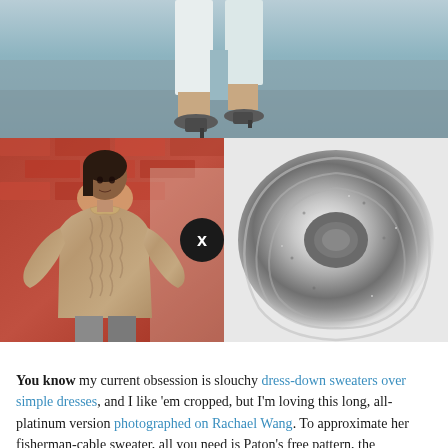[Figure (photo): Top photo showing legs/feet of a person walking, wearing white wide-leg pants and heeled shoes on a gray pavement background]
[Figure (photo): Left side: woman wearing a beige/taupe cable-knit fisherman sweater against a brick wall background. Right side: close-up of a skein of gray/silver tweed yarn. A black circle with white X overlaps the center between the two images.]
You know my current obsession is slouchy dress-down sweaters over simple dresses, and I like 'em cropped, but I'm loving this long, all-platinum version photographed on Rachael Wang. To approximate her fisherman-cable sweater, all you need is Paton's free pattern, the Honeycomb Aran